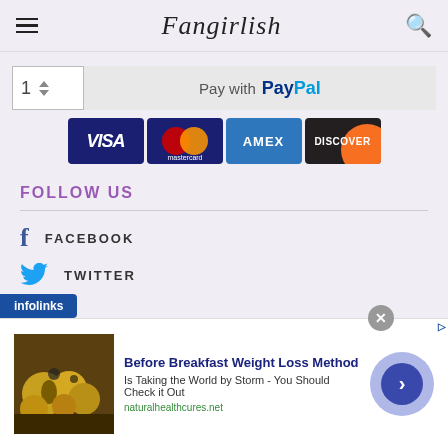Fangirlish
[Figure (screenshot): Pay with PayPal button with quantity selector showing '1' and up/down arrows]
[Figure (screenshot): Payment card logos: VISA, Mastercard, AMEX, DISCOVER]
FOLLOW US
FACEBOOK
TWITTER
[Figure (infographic): Infolinks advertisement overlay: 'Before Breakfast Weight Loss Method - Is Taking the World by Storm - You Should Check it Out - naturalhealthcures.net']